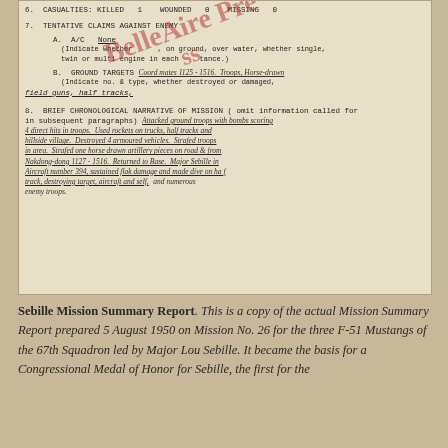[Figure (photo): Scanned military mission summary report document showing items 6, 7, and 8. Item 6: Casualties - Killed 1, Wounded 0, Missing 0. Item 7: Tentative Claims Against Enemy - A. A/C None; B. Ground Targets: Coord mates 1125-1516. Troops, Horse-drawn, field guns, half tracks. Item 8: Brief Chronological Narrative of Mission describing attack on ground troops with bombs scoring 4 direct hits, rockets on trucks/half tracks/hillside village, destroying 4 armoured vehicles, strafing troops, horse drawn artillery pieces on road from Nakdong-dong 1127-1516, returning to base. Major Sebille in Aircraft number 394 sustained flak damage and made dive on half track destroying target, aircraft and self, and numerous enemy troops. A BelleAire Press watermark stamp overlays the document.]
Sebille Mission Summary Report. This is a copy of the actual Mission Summary Report prepared 5 August 1950 on Mission No. 26 for the three F-51 Mustangs of the 67th Squadron led by Major Lou Sebille. It became the basis for a Congressional Medal of Honor for Sebille, the first for the